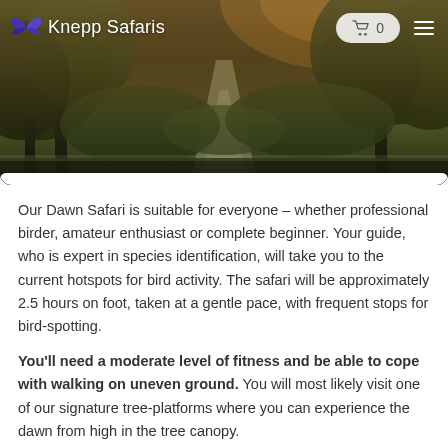[Figure (photo): Hero landscape photo of a misty dawn path through trees and woodland, used as background for the Knepp Safaris website header navigation bar.]
Knepp Safaris  🛒 0
Our Dawn Safari is suitable for everyone – whether professional birder, amateur enthusiast or complete beginner. Your guide, who is expert in species identification, will take you to the current hotspots for bird activity. The safari will be approximately 2.5 hours on foot, taken at a gentle pace, with frequent stops for bird-spotting.
You'll need a moderate level of fitness and be able to cope with walking on uneven ground. You will most likely visit one of our signature tree-platforms where you can experience the dawn from high in the tree canopy.
The safari ends with tea, coffee and pastries.